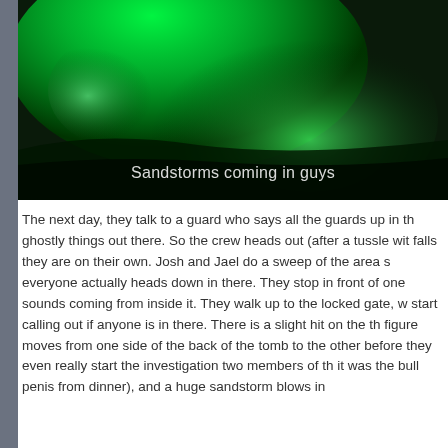[Figure (screenshot): Night-vision style green-tinted video screenshot showing a hazy, dusty or foggy scene. White subtitle text at bottom reads: 'Sandstorms coming in guys']
The next day, they talk to a guard who says all the guards up in th ghostly things out there. So the crew heads out (after a tussle wit falls they are on their own. Josh and Jael do a sweep of the area s everyone actually heads down in there. They stop in front of one sounds coming from inside it. They walk up to the locked gate, w start calling out if anyone is in there. There is a slight hit on the th figure moves from one side of the back of the tomb to the other before they even really start the investigation two members of th it was the bull penis from dinner), and a huge sandstorm blows in